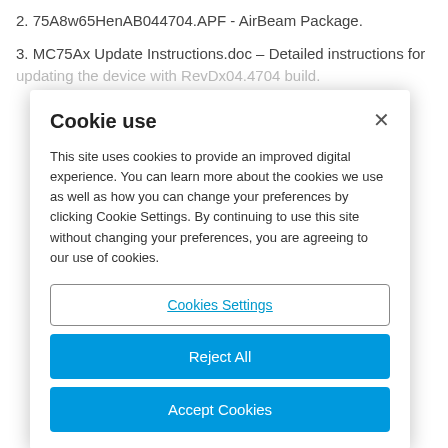2. 75A8w65HenAB044704.APF  - AirBeam Package.
3. MC75Ax Update Instructions.doc – Detailed instructions for updating the device with RevDx04.4704 build.
Cookie use
This site uses cookies to provide an improved digital experience. You can learn more about the cookies we use as well as how you can change your preferences by clicking Cookie Settings. By continuing to use this site without changing your preferences, you are agreeing to our use of cookies.
Cookies Settings
Reject All
Accept Cookies